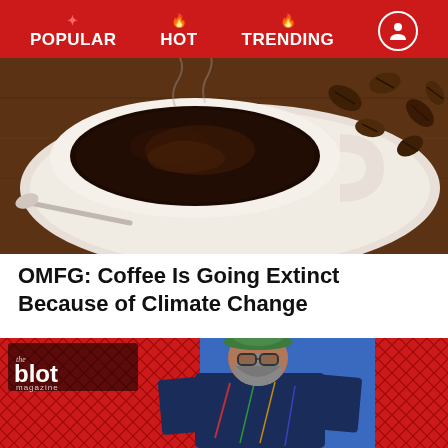POPULAR  HOT  TRENDING
[Figure (photo): Overhead view of a white coffee cup with black coffee and a tea bag, with coffee beans scattered on a wooden surface to the right.]
OMFG: Coffee Is Going Extinct Because of Climate Change
[Figure (photo): A bearded man wearing a green bucket hat, glasses, and a colorful navy poncho/jacket stands in front of a blue wall with red mesh grating panels. The Blot Magazine logo appears in the upper left corner.]